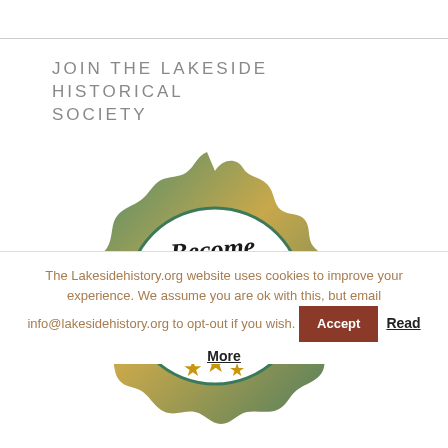JOIN THE LAKESIDE HISTORICAL SOCIETY
[Figure (illustration): A decorative badge/seal with teal and gold colors. The badge has a scalloped border in teal/green, with a gold banner ribbon reading 'A MEMBER' in bold black letters. Above the banner, cursive text reads 'Become'. Three gold stars appear at the bottom of the badge.]
The Lakesidehistory.org website uses cookies to improve your experience. We assume you are ok with this, but email info@lakesidehistory.org to opt-out if you wish.
Accept
Read More